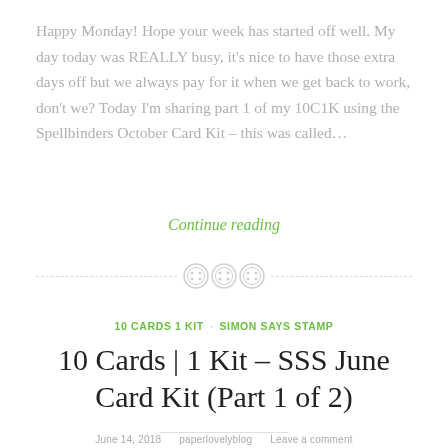Happy Monday! Hope your week has started off well. My day today was REALLY busy, it's nice to have those extra days off but we always pay for it when we get back to work, don't we? Today I'm sharing part 1 of my 10C1K using the Spellbinders October Card Kit – this was called…
Continue reading
10 CARDS 1 KIT · SIMON SAYS STAMP
10 Cards | 1 Kit – SSS June Card Kit (Part 1 of 2)
June 14, 2018    paperlovelyblog    Leave a comment